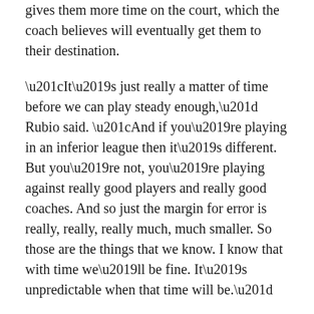gives them more time on the court, which the coach believes will eventually get them to their destination.
“It’s just really a matter of time before we can play steady enough,” Rubio said. “And if you’re playing in an inferior league then it’s different. But you’re not, you’re playing against really good players and really good coaches. And so just the margin for error is really, really, really much, much smaller. So those are the things that we know. I know that with time we’ll be fine. It’s unpredictable when that time will be.”
Colorado Buffaloes (12-5, 3-5 Pac-12)
Date and time: The match was originally scheduled for Friday, Oct. 22 at 5 p.m. MST but has been pushed back one hour until 6 p.m. on Friday.